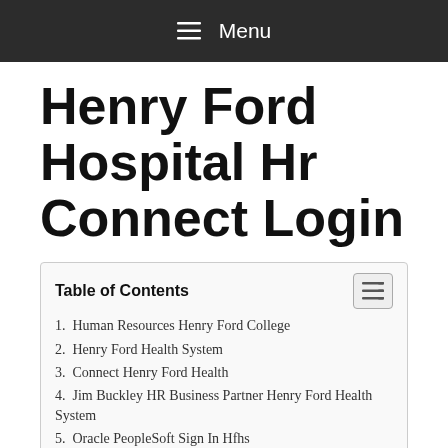≡ Menu
Henry Ford Hospital Hr Connect Login
Table of Contents
1. Human Resources Henry Ford College
2. Henry Ford Health System
3. Connect Henry Ford Health
4. Jim Buckley HR Business Partner Henry Ford Health System
5. Oracle PeopleSoft Sign In Hfhs